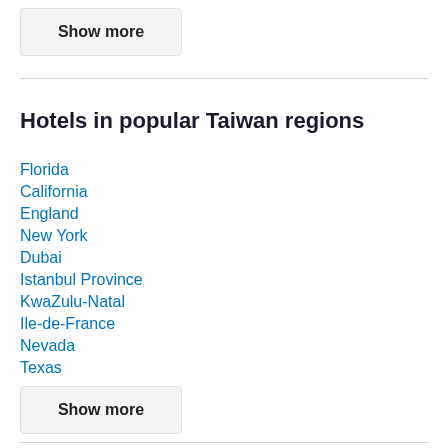Show more
Hotels in popular Taiwan regions
Florida
California
England
New York
Dubai
Istanbul Province
KwaZulu-Natal
Ile-de-France
Nevada
Texas
Show more